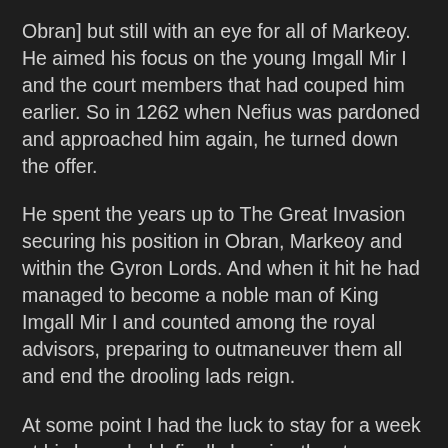Obran] but still with an eye for all of Markeoy. He aimed his focus on the young Imgall Mir I and the court members that had couped him earlier. So in 1262 when Nefius was pardoned and approached him again, he turned down the offer.
He spent the years up to The Great Invasion securing his position in Obran, Markeoy and within the Gyron Lords. And when it hit he had managed to become a noble man of King Imgall Mir I and counted among the royal advisors, preparing to outmaneuver them all and end the drooling lads reign.
At some point I had the luck to stay for a week at his household, finally hearing the story behind the Dragon Axes. Hearing about his previous fall from power making him act as he did in the unplanned encounter, makes sense. A man who just lost everything, facing